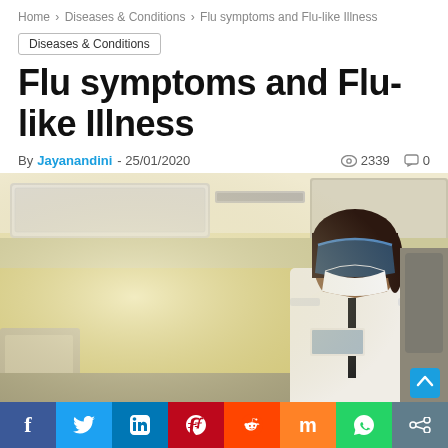Home > Diseases & Conditions > Flu symptoms and Flu-like Illness
Diseases & Conditions
Flu symptoms and Flu-like Illness
By Jayanandini - 25/01/2020   2339   0
[Figure (photo): A person wearing a face shield and mask standing in an airplane aisle, dressed in a white uniform, viewed from the side.]
f  in  p  S  m  WhatsApp share